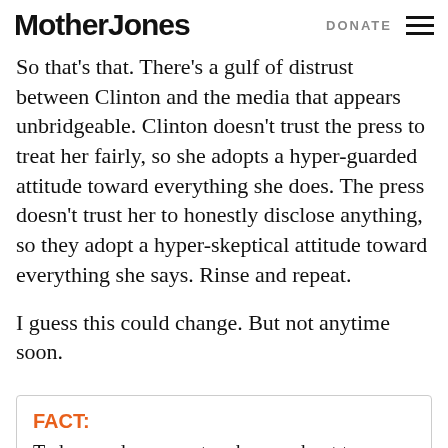Mother Jones | DONATE
So that's that. There's a gulf of distrust between Clinton and the media that appears unbridgeable. Clinton doesn't trust the press to treat her fairly, so she adopts a hyper-guarded attitude toward everything she does. The press doesn't trust her to honestly disclose anything, so they adopt a hyper-skeptical attitude toward everything she says. Rinse and repeat.
I guess this could change. But not anytime soon.
FACT: Today, reader support makes up about two-thirds of our budget, allows us to dig deep on stories that matter, and lets us keep our